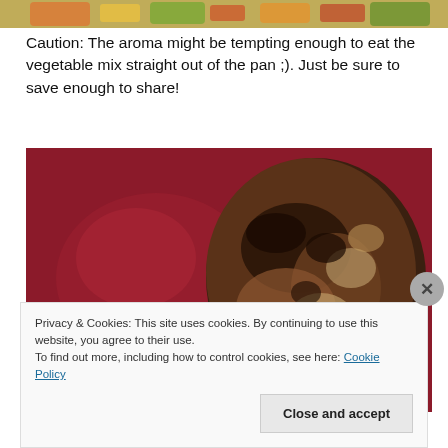[Figure (photo): Partial top edge of a food photo showing colorful vegetables in a pan]
Caution: The aroma might be tempting enough to eat the vegetable mix straight out of the pan ;). Just be sure to save enough to share!
[Figure (photo): Close-up photo of grilled or pan-seared chicken pieces in a red/dark pan, showing charred browning on the meat]
Privacy & Cookies: This site uses cookies. By continuing to use this website, you agree to their use.
To find out more, including how to control cookies, see here: Cookie Policy
Close and accept